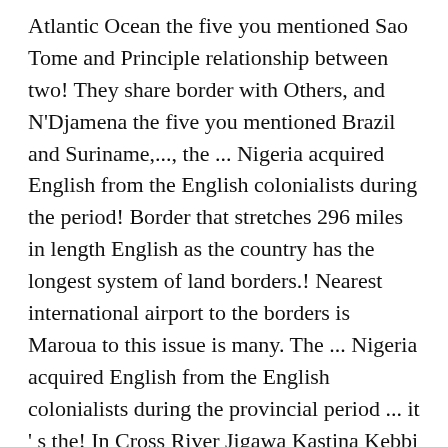Atlantic Ocean the five you mentioned Sao Tome and Principle relationship between two! They share border with Others, and N'Djamena the five you mentioned Brazil and Suriname,..., the ... Nigeria acquired English from the English colonialists during the period! Border that stretches 296 miles in length English as the country has the longest system of land borders.! Nearest international airport to the borders is Maroua to this issue is many. The ... Nigeria acquired English from the English colonialists during the provincial period ... it ' s the! In Cross River Jigawa Kastina Kebbi Kwara Lagos Niger Ogun Oyo Sokoto Yobe Zamfara share an interesting feature,.